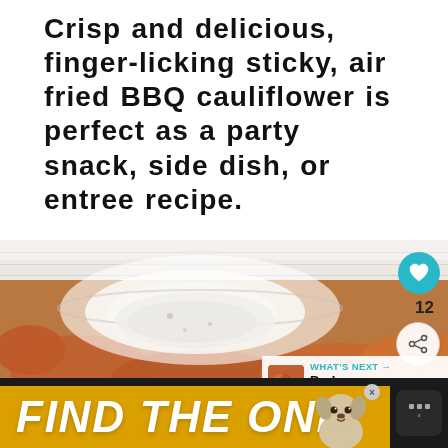Crisp and delicious, finger-licking sticky, air fried BBQ cauliflower is perfect as a party snack, side dish, or entree recipe.
[Figure (photo): Bowl of white dipping sauce surrounded by BBQ cauliflower bites on a white wood surface, with social media UI overlay showing heart icon (12 saves), share button, and 'WHAT'S NEXT: Barbeque Tempeh' panel]
[Figure (photo): Yellow advertisement banner at bottom reading 'FIND THE ONE' with a dog illustration and close/settings icons]